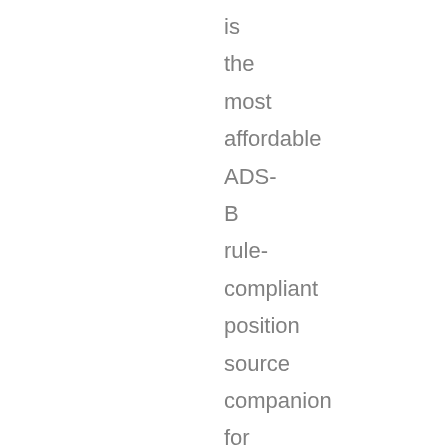is the most affordable ADS-B rule-compliant position source companion for the EchoUAT and EchoESX.